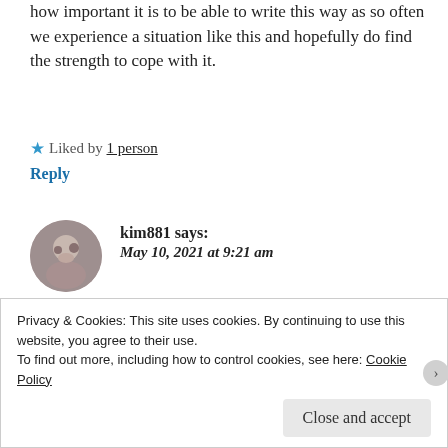how important it is to be able to write this way as so often we experience a situation like this and hopefully do find the strength to cope with it.
★ Liked by 1 person
Reply
kim881 says: May 10, 2021 at 9:21 am
Thank you, Robin. That's what writing is all about.
Privacy & Cookies: This site uses cookies. By continuing to use this website, you agree to their use. To find out more, including how to control cookies, see here: Cookie Policy
Close and accept